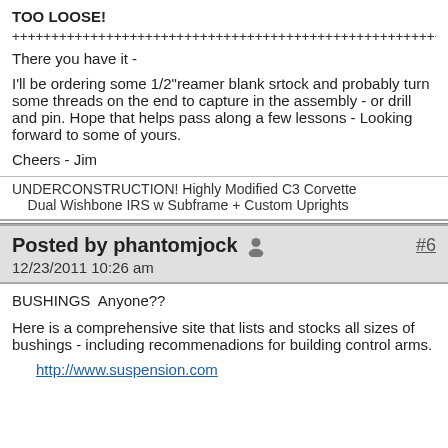TOO LOOSE!
+++++++++++++++++++++++++++++++++++++++++++++++++++++++++++++
There you have it -
I'll be ordering some 1/2"reamer blank srtock and probably turn some threads on the end to capture in the assembly - or drill and pin. Hope that helps pass along a few lessons - Looking forward to some of yours.
Cheers - Jim
UNDERCONSTRUCTION! Highly Modified C3 Corvette
    Dual Wishbone IRS w Subframe + Custom Uprights
Posted by phantomjock  #6
12/23/2011 10:26 am
BUSHINGS  Anyone??
Here is a comprehensive site that lists and stocks all sizes of bushings - including recommenadions for building control arms.
http://www.suspension.com